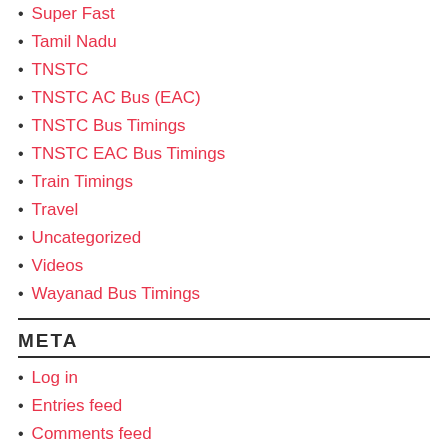Super Fast
Tamil Nadu
TNSTC
TNSTC AC Bus (EAC)
TNSTC Bus Timings
TNSTC EAC Bus Timings
Train Timings
Travel
Uncategorized
Videos
Wayanad Bus Timings
META
Log in
Entries feed
Comments feed
WordPress.org